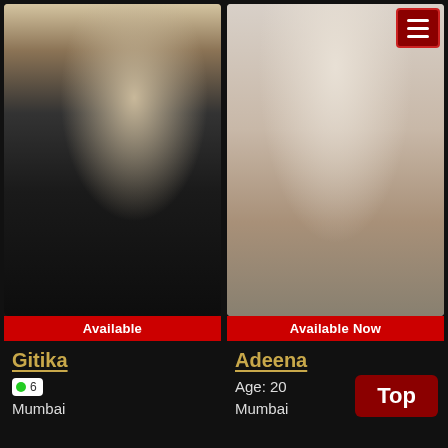[Figure (photo): Photo of Gitika, a woman in a dark dress with her back turned, in a room with a red shelf]
Available
Gitika
Mumbai
[Figure (photo): Photo of Adeena, a woman posing on a bed in lingerie, looking at the camera]
Available Now
Adeena
Age: 20
Mumbai
Top